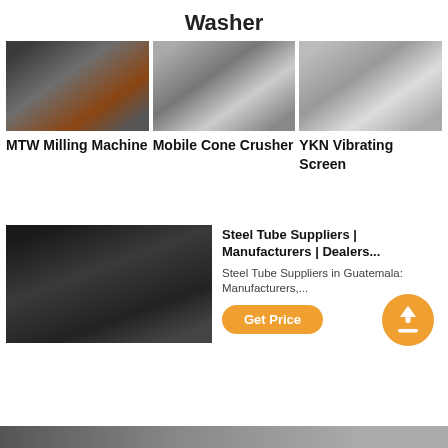Washer
[Figure (photo): MTW Milling Machine industrial photo]
[Figure (photo): Mobile Cone Crusher industrial photo]
[Figure (photo): YKN Vibrating Screen industrial photo]
MTW Milling Machine
Mobile Cone Crusher
YKN Vibrating Screen
[Figure (photo): Large jaw crusher machines in industrial facility]
Steel Tube Suppliers | Manufacturers | Dealers...
Steel Tube Suppliers in Guatemala: Manufacturers,...
Get Price
[Figure (photo): Bottom strip industrial machinery photo]